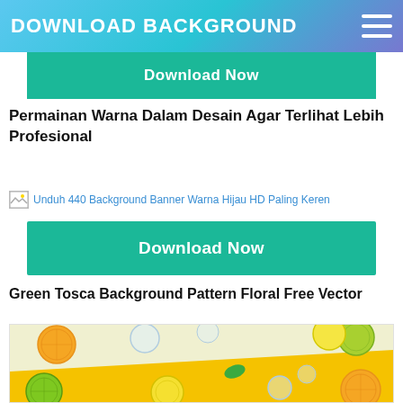DOWNLOAD BACKGROUND
Download Now
Permainan Warna Dalam Desain Agar Terlihat Lebih Profesional
[Figure (screenshot): Broken image placeholder with alt text: Unduh 440 Background Banner Warna Hijau HD Paling Keren]
Download Now
Green Tosca Background Pattern Floral Free Vector
[Figure (photo): Photo of citrus fruit slices (lemons, limes, oranges) arranged on a light yellow and bright yellow diagonal background]